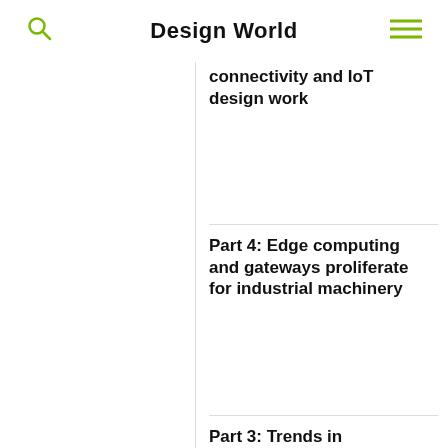Design World
connectivity and IoT design work
Part 4: Edge computing and gateways proliferate for industrial machinery
Part 3: Trends in Ethernet, PoE, IO-Link,